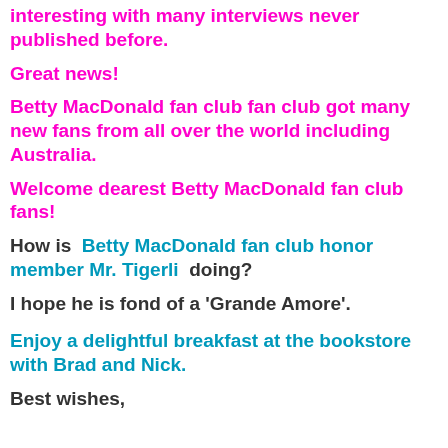interesting with many interviews never published before.
Great news!
Betty MacDonald fan club fan club got many new fans from all over the world including Australia.
Welcome dearest Betty MacDonald fan club fans!
How is Betty MacDonald fan club honor member Mr. Tigerli doing?
I hope he is fond of a 'Grande Amore'.
Enjoy a delightful breakfast at the bookstore with Brad and Nick.
Best wishes,